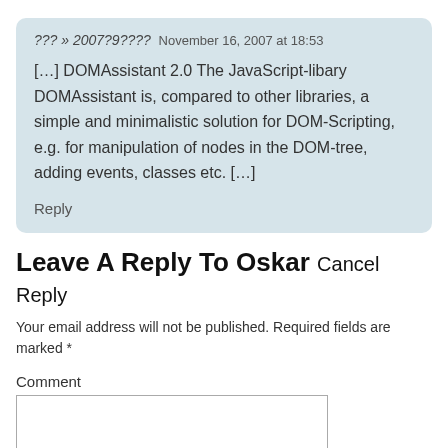??? » 2007?9????  November 16, 2007 at 18:53
[…] DOMAssistant 2.0 The JavaScript-libary DOMAssistant is, compared to other libraries, a simple and minimalistic solution for DOM-Scripting, e.g. for manipulation of nodes in the DOM-tree, adding events, classes etc. […]
Reply
Leave A Reply To Oskar Cancel Reply
Your email address will not be published. Required fields are marked *
Comment